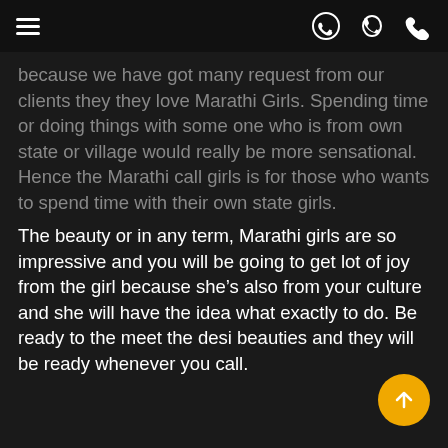[hamburger menu icon] [WhatsApp icon] [phone icon]
because we have got many request from our clients they they love Marathi Girls. Spending time or doing things with some one who is from own state or village would really be more sensational. Hence the Marathi call girls is for those who wants to spend time with their own state girls.
The beauty or in any term, Marathi girls are so impressive and you will be going to get lot of joy from the girl because she's also from your culture and she will have the idea what exactly to do. Be ready to the meet the desi beauties and they will be ready whenever you call.